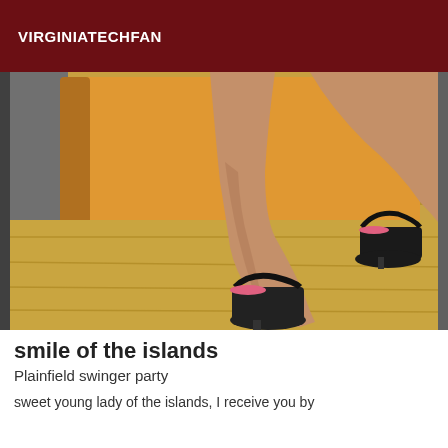VIRGINIATECHFAN
[Figure (photo): Close-up photo of a woman's legs wearing black high-heel platform sandals, seated near an orange/yellow upholstered furniture piece on a wood floor.]
smile of the islands
Plainfield swinger party
sweet young lady of the islands, I receive you by